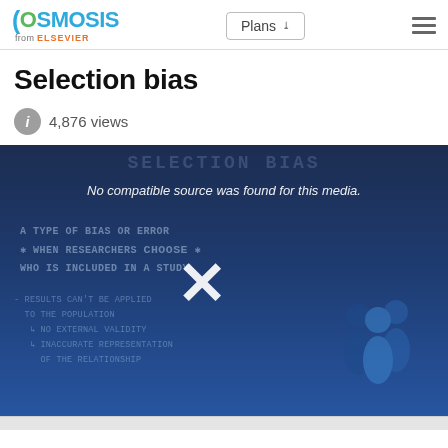Osmosis from ELSEVIER | Plans | Menu
Selection bias
4,876 views
[Figure (screenshot): Video thumbnail with dark blue background showing text about selection bias: 'a TYPE of BIAS or ERROR when RESEARCHERS CHOOSE who is INCLUDED in a STUDY' and '- RESULTS CAN'T BE APPLIED to the POPULATION, NO EXTERNAL VALIDITY, INACCURATE REPRESENTATION of the RELATIONSHIP'. Shows a large X mark and illustrated people icons. Overlay text reads: 'No compatible source was found for this media.']